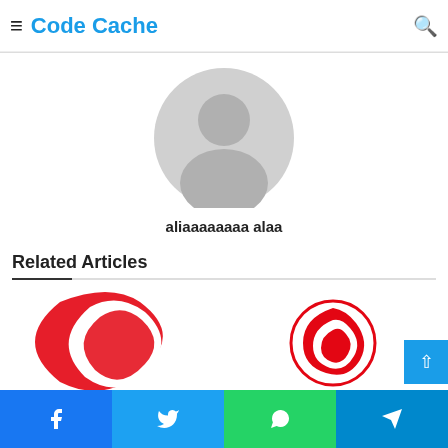Code Cache
[Figure (photo): Default user avatar placeholder — grey circle with person silhouette]
aliaaaaaaaa alaa
Related Articles
[Figure (logo): Vodafone logo (red arc / check mark shape) — left article thumbnail]
[Figure (logo): Vodafone logo — right article thumbnail]
Facebook | Twitter | WhatsApp | Telegram